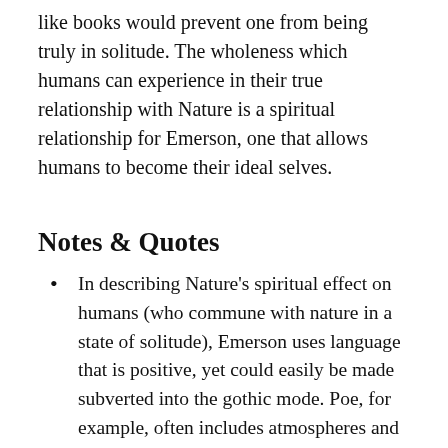like books would prevent one from being truly in solitude. The wholeness which humans can experience in their true relationship with Nature is a spiritual relationship for Emerson, one that allows humans to become their ideal selves.
Notes & Quotes
In describing Nature's spiritual effect on humans (who commune with nature in a state of solitude), Emerson uses language that is positive, yet could easily be made subverted into the gothic mode. Poe, for example, often includes atmospheres and environments that influence, penetrate, and destabilize his